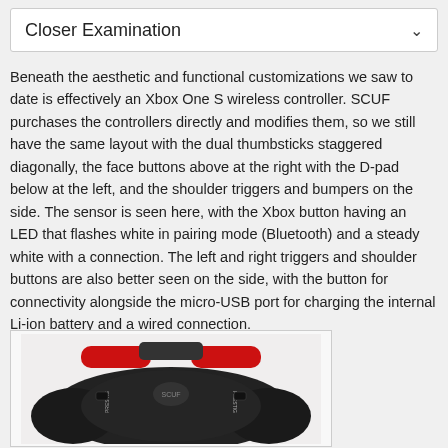Closer Examination
Beneath the aesthetic and functional customizations we saw to date is effectively an Xbox One S wireless controller. SCUF purchases the controllers directly and modifies them, so we still have the same layout with the dual thumbsticks staggered diagonally, the face buttons above at the right with the D-pad below at the left, and the shoulder triggers and bumpers on the side. The sensor is seen here, with the Xbox button having an LED that flashes white in pairing mode (Bluetooth) and a steady white with a connection. The left and right triggers and shoulder buttons are also better seen on the side, with the button for connectivity alongside the micro-USB port for charging the internal Li-ion battery and a wired connection.
[Figure (photo): Top-down view of a SCUF gaming controller with red and black color scheme, showing the top side with 'PRESTIG' text visible on paddle areas]